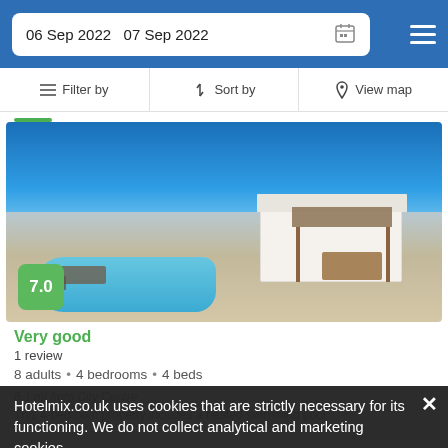06 Sep 2022   07 Sep 2022
Filter by   Sort by   View map
[Figure (photo): Villa with swimming pool in sunny location, white building with pergola, outdoor furniture, blue sky]
7.0
Very good
1 review
8 adults  •  4 bedrooms  •  4 beds
6.1 mi from City Centre
This 4-bedroom property includes a heated swimming pool
Hotelmix.co.uk uses cookies that are strictly necessary for its functioning. We do not collect analytical and marketing cookies.